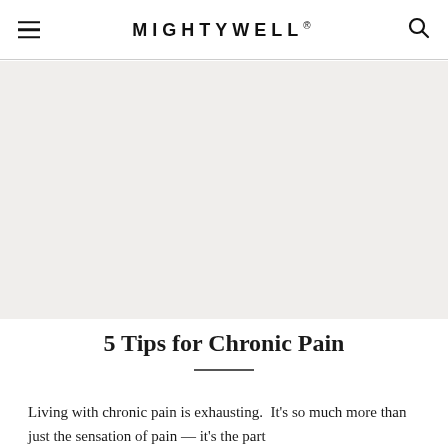MIGHTYWELL®
[Figure (photo): Large image area placeholder for a photo related to chronic pain article]
5 Tips for Chronic Pain
Living with chronic pain is exhausting. It's so much more than just the sensation of pain — it's the part